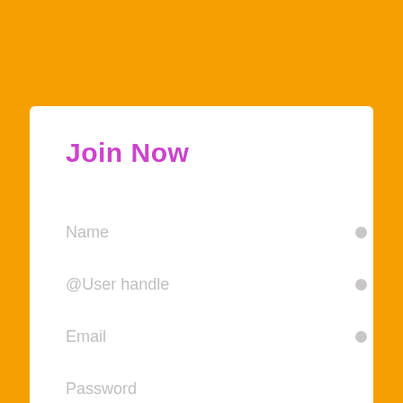Join Now
Name
@User handle
Email
Password